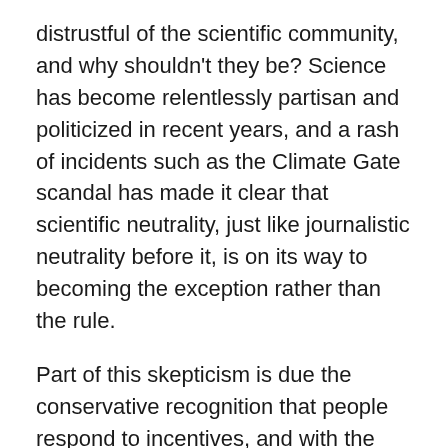distrustful of the scientific community, and why shouldn't they be? Science has become relentlessly partisan and politicized in recent years, and a rash of incidents such as the Climate Gate scandal has made it clear that scientific neutrality, just like journalistic neutrality before it, is on its way to becoming the exception rather than the rule.
Part of this skepticism is due the conservative recognition that people respond to incentives, and with the majority of scientific grants coming from a federal government with a distinct political viewpoint, it is not surprising to see scientists toeing the party line rather than see their funding cut. If this sounds like a cynical worldview, it is only because observation has made any other interpretation difficult to swallow.
Liberals love these sorts of stories, because they provides